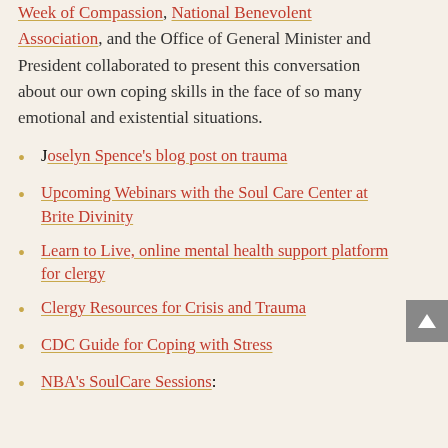Week of Compassion, National Benevolent Association, and the Office of General Minister and President collaborated to present this conversation about our own coping skills in the face of so many emotional and existential situations.
Joselyn Spence's blog post on trauma
Upcoming Webinars with the Soul Care Center at Brite Divinity
Learn to Live, online mental health support platform for clergy
Clergy Resources for Crisis and Trauma
CDC Guide for Coping with Stress
NBA's SoulCare Sessions: